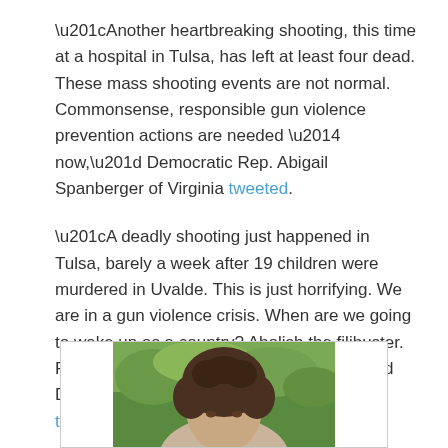“Another heartbreaking shooting, this time at a hospital in Tulsa, has left at least four dead. These mass shooting events are not normal. Commonsense, responsible gun violence prevention actions are needed — now,” Democratic Rep. Abigail Spanberger of Virginia tweeted.
“A deadly shooting just happened in Tulsa, barely a week after 19 children were murdered in Uvalde. This is just horrifying. We are in a gun violence crisis. When are we going to wake up as a country? Abolish the filibuster. Pass meaningful gun legislation. Now,” Democratic Rep. Ro Khanna of California tweeted.
[Figure (photo): Partial photo of a person with curly dark hair, shown from roughly shoulders up, against a green outdoor background. Only top portion visible.]